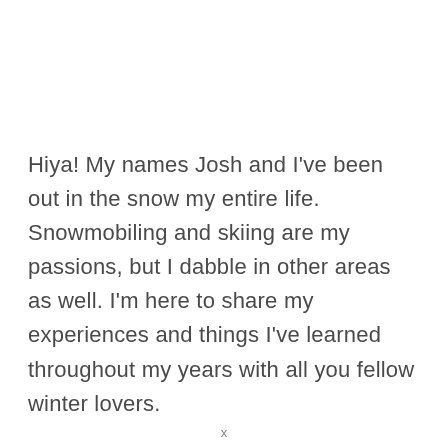Hiya! My names Josh and I've been out in the snow my entire life. Snowmobiling and skiing are my passions, but I dabble in other areas as well. I'm here to share my experiences and things I've learned throughout my years with all you fellow winter lovers.
x